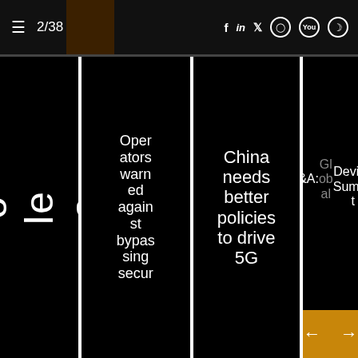≡ 2/38 | f in 𝕏 ⬡ You Globe
Asia to lead on 5
Operators warned against bypassing secur
China needs better policies to drive 5G
Q&A: Global Device Summi t